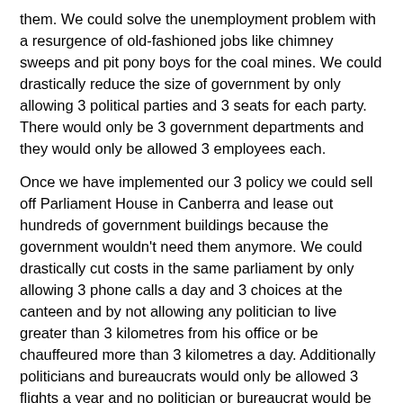them. We could solve the unemployment problem with a resurgence of old-fashioned jobs like chimney sweeps and pit pony boys for the coal mines. We could drastically reduce the size of government by only allowing 3 political parties and 3 seats for each party. There would only be 3 government departments and they would only be allowed 3 employees each.
Once we have implemented our 3 policy we could sell off Parliament House in Canberra and lease out hundreds of government buildings because the government wouldn't need them anymore. We could drastically cut costs in the same parliament by only allowing 3 phone calls a day and 3 choices at the canteen and by not allowing any politician to live greater than 3 kilometres from his office or be chauffeured more than 3 kilometres a day. Additionally politicians and bureaucrats would only be allowed 3 flights a year and no politician or bureaucrat would be allowed to stay in office longer than 3 years (then they would have to get a real job and suffer like the rest of us).
Of course if politicians and bureaucrats knew they had to get a real job in 3 years they wouldn't pass the stupid legislation they now do. At the moment they can pass all kinds of draconian laws and taxes because they are not affected by them; they are protected with job security, guaranteed pensions and the like. If they knew they would be their next affected, maybe the...